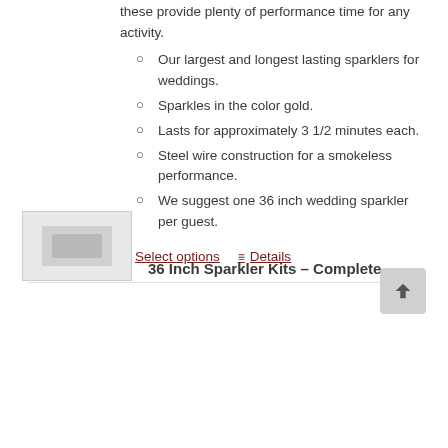these provide plenty of performance time for any activity.
Our largest and longest lasting sparklers for weddings.
Sparkles in the color gold.
Lasts for approximately 3 1/2 minutes each.
Steel wire construction for a smokeless performance.
We suggest one 36 inch wedding sparkler per guest.
Select options   Details
36 Inch Sparkler Kits – Complete